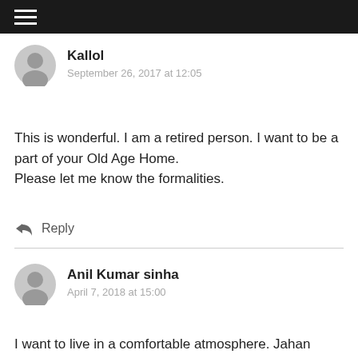≡ (navigation menu icon)
Kallol
September 26, 2017 at 12:05
This is wonderful. I am a retired person. I want to be a part of your Old Age Home.
Please let me know the formalities.
↩ Reply
Anil Kumar sinha
April 7, 2018 at 15:00
I want to live in a comfortable atmosphere. Jahan